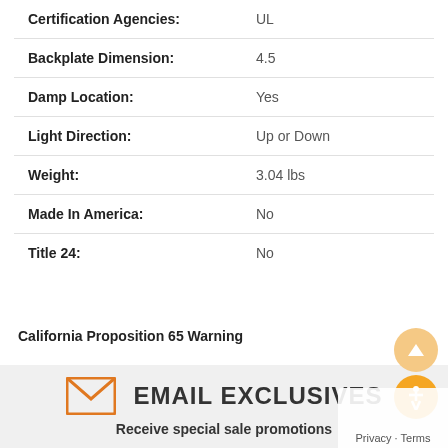| Specification | Value |
| --- | --- |
| Certification Agencies: | UL |
| Backplate Dimension: | 4.5 |
| Damp Location: | Yes |
| Light Direction: | Up or Down |
| Weight: | 3.04 lbs |
| Made In America: | No |
| Title 24: | No |
California Proposition 65 Warning
[Figure (infographic): Email exclusives promotional banner with envelope icon, heading 'EMAIL EXCLUSIVES', and subtext 'Receive special sale promotions']